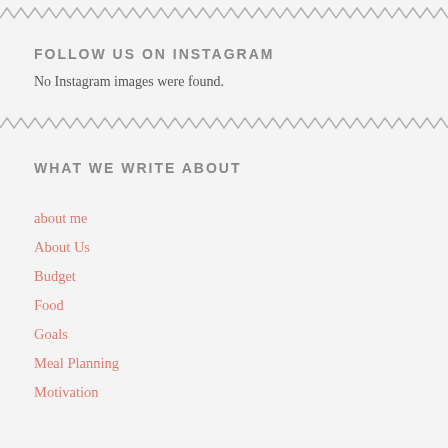FOLLOW US ON INSTAGRAM
No Instagram images were found.
WHAT WE WRITE ABOUT
about me
About Us
Budget
Food
Goals
Meal Planning
Motivation